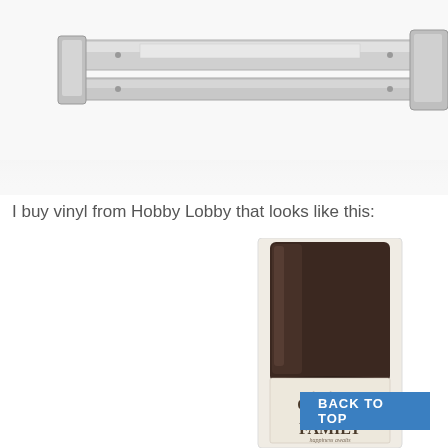[Figure (photo): Partial view of a silver/chrome paper trimmer or cutting machine from above]
I buy vinyl from Hobby Lobby that looks like this:
[Figure (photo): A roll of dark brown vinyl from Hobby Lobby with a cream-colored product label that reads 'CREATE FAMILY' in decorative script and serif fonts]
BACK TO TOP